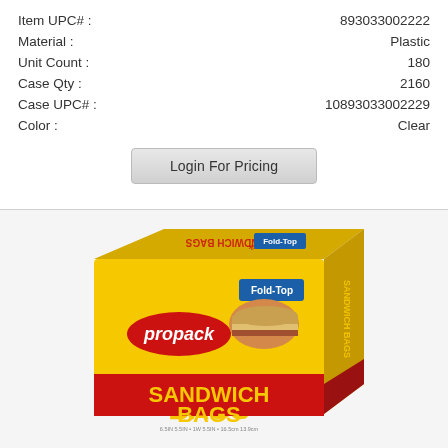| Item UPC# : | 893033002222 |
| Material : | Plastic |
| Unit Count : | 180 |
| Case Qty : | 2160 |
| Case UPC# : | 10893033002229 |
| Color : | Clear |
Login For Pricing
[Figure (photo): Propack Sandwich Bags product box, yellow with red text, showing fold-top sandwich bags with an image of a sandwich on the box front.]